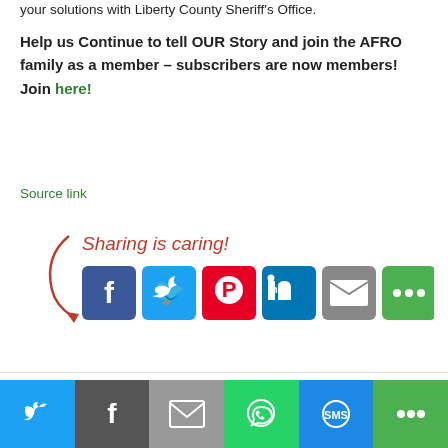your solutions with Liberty County Sheriff's Office.
Help us Continue to tell OUR Story and join the AFRO family as a member – subscribers are now members! Join here!
Source link
[Figure (infographic): Sharing is caring! social share buttons: Facebook, Twitter, Pinterest, LinkedIn, Email, More]
This website uses cookies to improve your experience. We'll assume you're ok with this, but you can opt-out if you wish.
[Figure (infographic): Bottom share bar with Twitter, Facebook, Email, WhatsApp, SMS, More buttons]